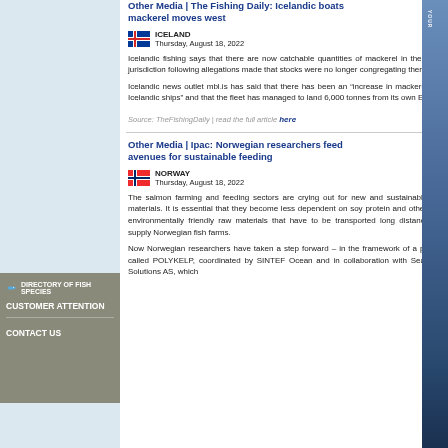DIRECTORY OF FISH SPECIES
CUSTOMER ATTENTION
CONTACT US
Other Media | The Fishing Daily: Icelandic boats as mackerel moves west
ICELAND
Thursday, August 18, 2022
Icelandic fishing says that there are now catchable quantities of mackerel in their own jurisdiction following allegations made that stocks were no longer congregating there.
Icelandic news outlet mbl.is has said that there has been an “increase in mackerel and Icelandic ships” and that the fleet has managed to land 6,000 tonnes from its own EEZ.
Source: TheFishingDaily | read the full article here
Other Media | Ipac: Norwegian researchers feed avenues for sustainable feeding
NORWAY
Thursday, August 18, 2022
The salmon farming and feeding sectors are crying out for new and sustainable raw materials. It is essential that they become less dependent on soy protein and other less environmentally friendly raw materials that have to be transported long distances to supply Norwegian fish farms.
Now Norwegian researchers have taken a step forward – in the framework of a project called POLYKELP, coordinated by SINTEF Ocean and in collaboration with Seaweed Solutions AS, which